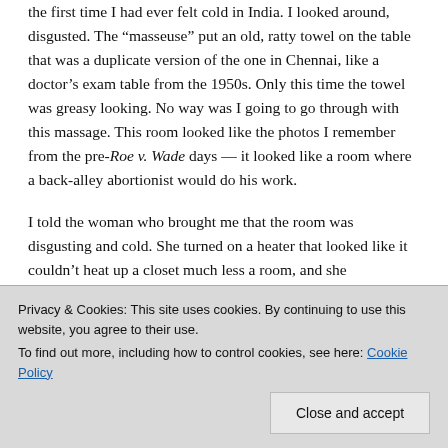the first time I had ever felt cold in India. I looked around, disgusted. The “masseuse” put an old, ratty towel on the table that was a duplicate version of the one in Chennai, like a doctor’s exam table from the 1950s. Only this time the towel was greasy looking. No way was I going to go through with this massage. This room looked like the photos I remember from the pre-Roe v. Wade days — it looked like a room where a back-alley abortionist would do his work.
I told the woman who brought me that the room was disgusting and cold. She turned on a heater that looked like it couldn’t heat up a closet much less a room, and she
Privacy & Cookies: This site uses cookies. By continuing to use this website, you agree to their use.
To find out more, including how to control cookies, see here: Cookie Policy